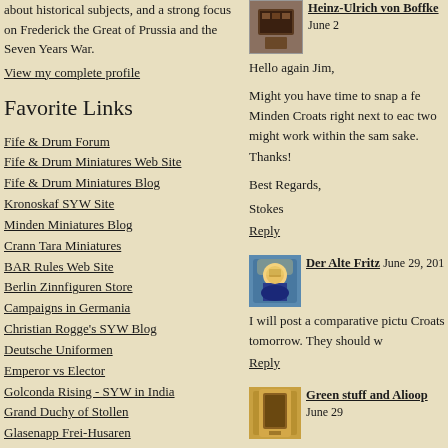about historical subjects, and a strong focus on Frederick the Great of Prussia and the Seven Years War.
View my complete profile
Favorite Links
Fife & Drum Forum
Fife & Drum Miniatures Web Site
Fife & Drum Miniatures Blog
Kronoskaf SYW Site
Minden Miniatures Blog
Crann Tara Miniatures
BAR Rules Web Site
Berlin Zinnfiguren Store
Campaigns in Germania
Christian Rogge's SYW Blog
Deutsche Uniformen
Emperor vs Elector
Golconda Rising - SYW in India
Grand Duchy of Stollen
Glasenapp Frei-Husaren
House of Hohenzollern
Kolin Zinnfigure Diorama
League of Augsburg Blog
Leuthen Diorama
Leuthen Journal
Heinz-Ulrich von Boffke   June 2
Hello again Jim,
Might you have time to snap a fe Minden Croats right next to eac two might work within the sam sake. Thanks!
Best Regards,
Stokes
Reply
Der Alte Fritz   June 29, 201
I will post a comparative pictu Croats tomorrow. They should w
Reply
Green stuff and Alioop   June 29
I like the more dynamic bases. N
Reply